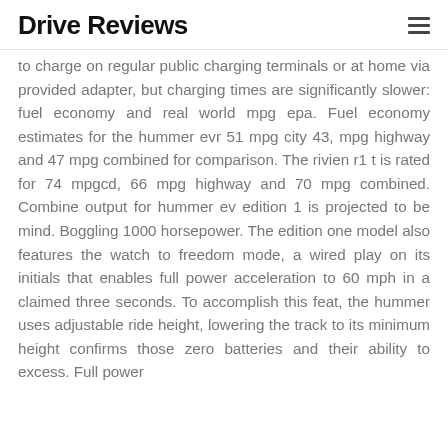Drive Reviews
to charge on regular public charging terminals or at home via provided adapter, but charging times are significantly slower: fuel economy and real world mpg epa. Fuel economy estimates for the hummer evr 51 mpg city 43, mpg highway and 47 mpg combined for comparison. The rivien r1 t is rated for 74 mpgcd, 66 mpg highway and 70 mpg combined. Combine output for hummer ev edition 1 is projected to be mind. Boggling 1000 horsepower. The edition one model also features the watch to freedom mode, a wired play on its initials that enables full power acceleration to 60 mph in a claimed three seconds. To accomplish this feat, the hummer uses adjustable ride height, lowering the track to its minimum height confirms those zero batteries and their ability to excess. Full power